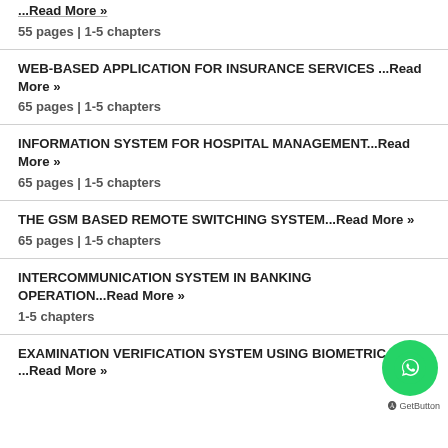...Read More »
55 pages | 1-5 chapters
WEB-BASED APPLICATION FOR INSURANCE SERVICES ...Read More »
65 pages | 1-5 chapters
INFORMATION SYSTEM FOR HOSPITAL MANAGEMENT...Read More »
65 pages | 1-5 chapters
THE GSM BASED REMOTE SWITCHING SYSTEM...Read More »
65 pages | 1-5 chapters
INTERCOMMUNICATION SYSTEM IN BANKING OPERATION...Read More »
1-5 chapters
EXAMINATION VERIFICATION SYSTEM USING BIOMETRIC ...Read More »